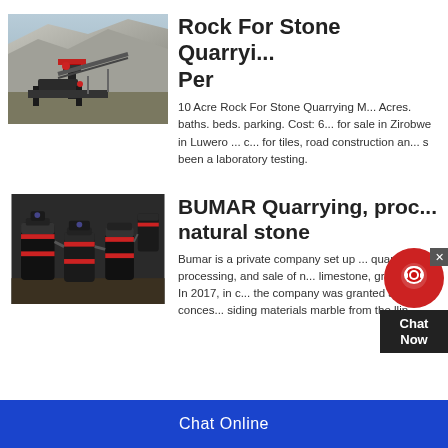[Figure (photo): Photo of quarrying equipment/machinery at a rock quarry site with stone face in background]
Rock For Stone Quarrying Per
10 Acre Rock For Stone Quarrying ... Acres. baths. beds. parking. Cost: 6... for sale in Zirobwe in Luwero ... for tiles, road construction and ... been a laboratory testing.
[Figure (photo): Photo of industrial grinding/milling machinery, dark equipment in a processing facility]
BUMAR Quarrying, processing natural stone
Bumar is a private company set up ... quarrying, processing, and sale of n... limestone, granite, etc. In 2017, in c... the company was granted a conces... siding materials marble from the llin...
Chat Online